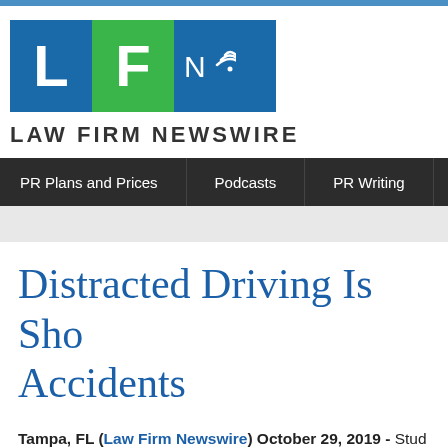[Figure (logo): Law Firm Newswire logo with three colored blocks (blue L, green F, blue N with wifi icon) and text 'LAW FIRM NEWSWIRE']
PR Plans and Prices | Podcasts | PR Writing
Distracted Driving Is Sho... Accidents
Tampa, FL (Law Firm Newswire) October 29, 2019 - Stud... severe.